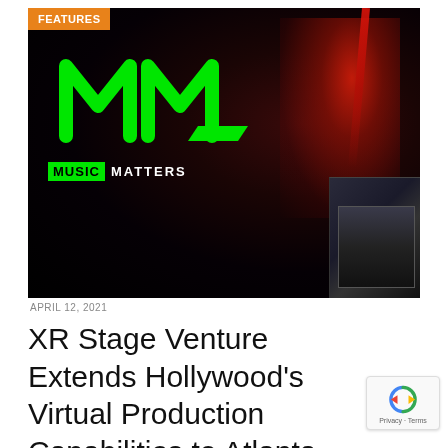[Figure (photo): A dark concert/stage background image with a glowing green Music Matters logo (stylized MM letters) in the upper-left, a FEATURES orange badge overlay in the top-left corner, red lighting effects on the right side, and stage equipment visible in the lower-right. Text 'MUSIC MATTERS' appears below the logo.]
APRIL 12, 2021
XR Stage Venture Extends Hollywood's Virtual Production Capabilities to Atlanta